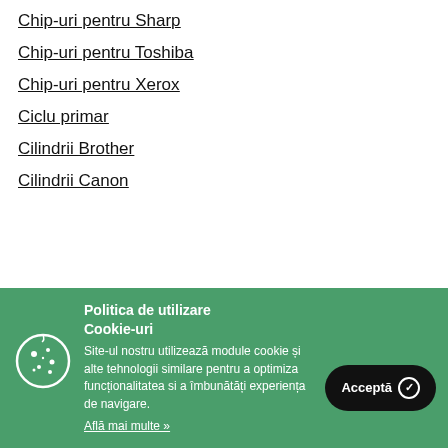Chip-uri pentru Sharp
Chip-uri pentru Toshiba
Chip-uri pentru Xerox
Ciclu primar
Cilindrii Brother
Cilindrii Canon
Politica de utilizare Cookie-uri
Site-ul nostru utilizează module cookie și alte tehnologii similare pentru a optimiza funcționalitatea si a îmbunătăți experiența de navigare.
Află mai multe »